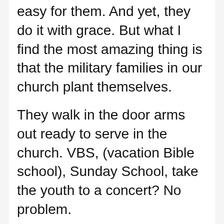easy for them. And yet, they do it with grace. But what I find the most amazing thing is that the military families in our church plant themselves.
They walk in the door arms out ready to serve in the church. VBS, (vacation Bible school), Sunday School, take the youth to a concert? No problem.
They take “the grow where you are planted” seriously. Get right in there and get their roots anchored, then one day they are gone.
That’s hard on us who have made good